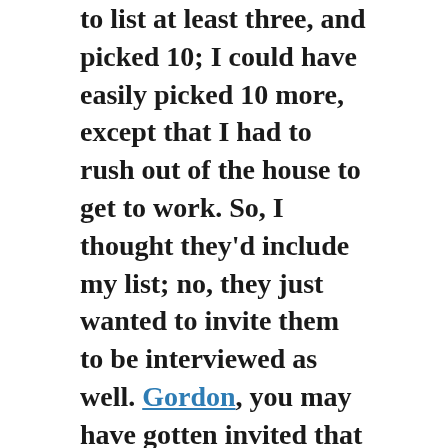to list at least three, and picked 10; I could have easily picked 10 more, except that I had to rush out of the house to get to work. So, I thought they'd include my list; no, they just wanted to invite them to be interviewed as well. Gordon, you may have gotten invited that way.
That list included the usual suspects, if you've read this blog a while. Although I did deliberately pass on Mike's Progressive Ruin, not only because a gazillion people are reading him already, and because many of the sites I listed also are linked to him, but also because, and this is only an allegation, that Mike Sterling Is A Big Cheater Pants. Here, Mikey, look at some cute animals